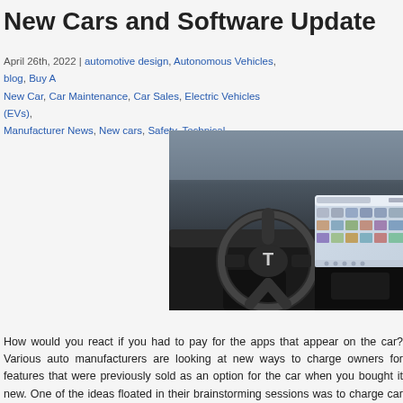New Cars and Software Update
April 26th, 2022 | automotive design, Autonomous Vehicles, blog, Buy A New Car, Car Maintenance, Car Sales, Electric Vehicles (EVs), Manufacturer News, New cars, Safety, Technical
[Figure (photo): Interior photo of a Tesla vehicle showing the steering wheel with Tesla logo and the large center touchscreen display showing a colorful app grid interface.]
How would you react if you had to pay for the apps that appear on the car? Various auto manufacturers are looking at new ways to charge owners for features that were previously sold as an option for the car when you bought it new. One of the ideas floated in their brainstorming sessions was to charge car owners subscriptions for things like Apple CarPlay and its phone-pairing connectivity – as BMW is already doing. This is a feature that has been included for free on many mainstream cars.